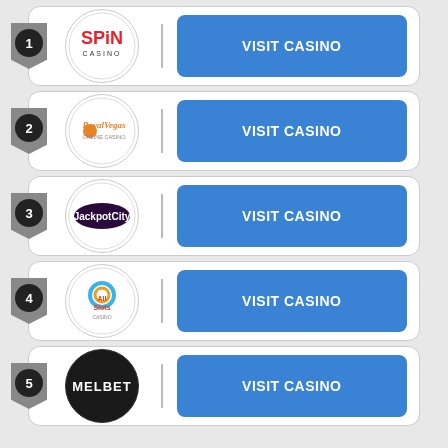1 - Spin Casino - VISIT CASINO
2 - Royal Vegas - VISIT CASINO
3 - JackpotCity - VISIT CASINO
4 - All Slots - VISIT CASINO
5 - MelBet - VISIT CASINO